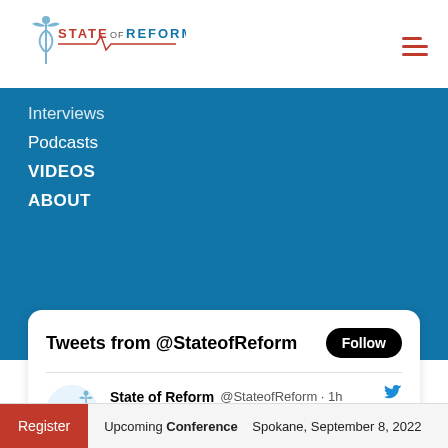STATE OF REFORM
Interviews
Podcasts
VIDEOS
ABOUT
[Figure (screenshot): Twitter/X embedded tweet widget from @StateofReform showing a tweet: 'We're excited to welcome Charissa Fotinos, M.D., the Medicaid Director at @WA_Health_Care, to our event in Spokane as she discusses the end of the PHE, #Medicaid redeterminations, waiver renewals & more! #Washington #healthcare bit.ly/3G1Gqq8']
Register   Upcoming Conference   Spokane, September 8, 2022